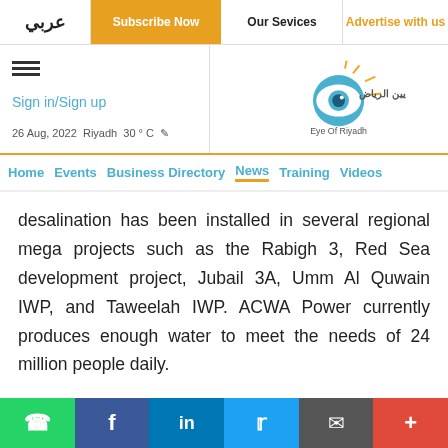عربي | Subscribe Now | Our Sevices | Advertise with us
[Figure (logo): Eye Of Riyadh logo with Arabic text and stylized eye globe graphic]
Sign in/Sign up | 26 Aug, 2022 Riyadh 30°C
Home | Events | Business Directory | News | Training | Videos
desalination has been installed in several regional mega projects such as the Rabigh 3, Red Sea development project, Jubail 3A, Umm Al Quwain IWP, and Taweelah IWP. ACWA Power currently produces enough water to meet the needs of 24 million people daily.
WhatsApp | Facebook | LinkedIn | Twitter | Email | More